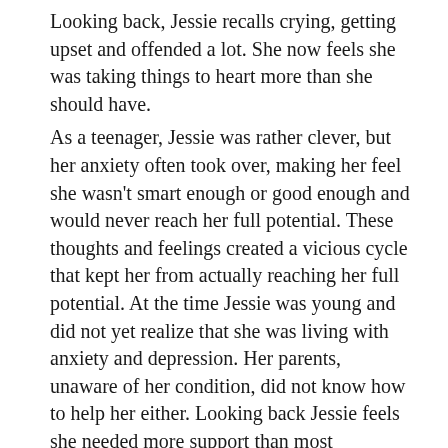Looking back, Jessie recalls crying, getting upset and offended a lot. She now feels she was taking things to heart more than she should have. As a teenager, Jessie was rather clever, but her anxiety often took over, making her feel she wasn't smart enough or good enough and would never reach her full potential. These thoughts and feelings created a vicious cycle that kept her from actually reaching her full potential. At the time Jessie was young and did not yet realize that she was living with anxiety and depression. Her parents, unaware of her condition, did not know how to help her either. Looking back Jessie feels she needed more support than most teenagers normally do. She needed the people around her to remind her of her worth. Mostly she wishes there was more awareness and less stigma surrounding the issue of mental illness, so she could have asked for and gotten the help she needed in time. Jessie's anxiety worsened during her teens. She started to recognize what she thought were societal standards — things you should or shouldn't do, things to wear in order